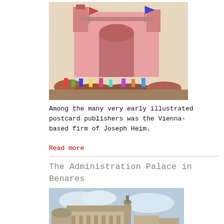[Figure (illustration): Colorful illustrated postcard showing an ornate Indian palace/gate with crowds and flags]
Among the many very early illustrated postcard publishers was the Vienna-based firm of Joseph Heim.
Read more
The Administration Palace in Benares
[Figure (illustration): Illustrated postcard of the Administration Palace in Benares (Varanasi), showing riverside architecture with columns and a minaret under a cloudy sky]
ADMINISTRATION PALACE IN BENARES
The history of Varanasi, also called Benares, can be traced back to the